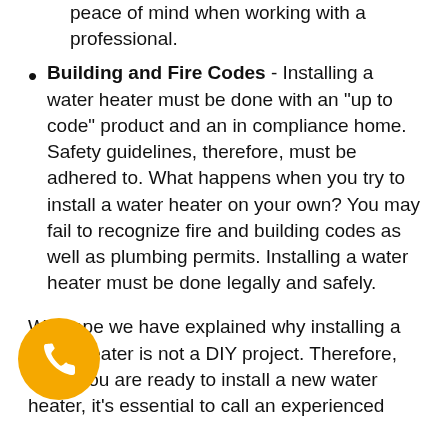peace of mind when working with a professional.
Building and Fire Codes - Installing a water heater must be done with an "up to code" product and an in compliance home. Safety guidelines, therefore, must be adhered to. What happens when you try to install a water heater on your own? You may fail to recognize fire and building codes as well as plumbing permits. Installing a water heater must be done legally and safely.
[Figure (illustration): Yellow circle with white phone handset icon (call button)]
We hope we have explained why installing a water heater is not a DIY project. Therefore, when you are ready to install a new water heater, it's essential to call an experienced